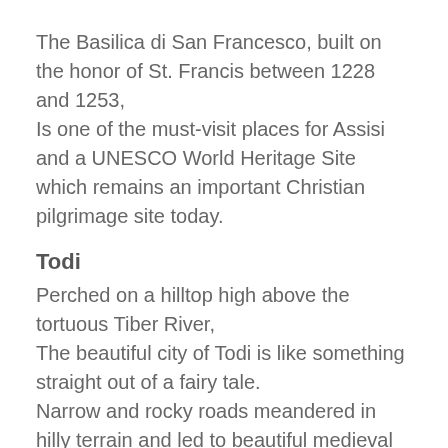The Basilica di San Francesco, built on the honor of St. Francis between 1228 and 1253,
Is one of the must-visit places for Assisi and a UNESCO World Heritage Site which remains an important Christian pilgrimage site today.
Todi
Perched on a hilltop high above the tortuous Tiber River,
The beautiful city of Todi is like something straight out of a fairy tale.
Narrow and rocky roads meandered in hilly terrain and led to beautiful medieval monuments such as Palazzo del Popolo; built in 1213,
This is one of the oldest public buildings in Italy,
Positioned along with cute cafes and boutiques. and